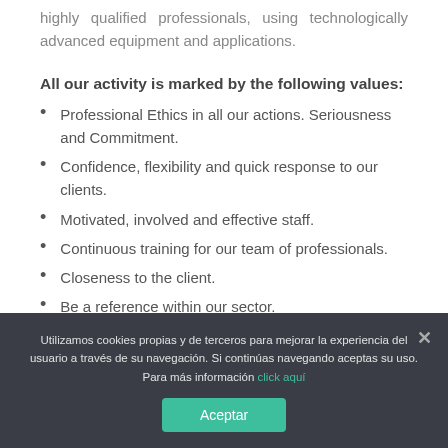highly qualified professionals, using technologically advanced equipment and applications.
All our activity is marked by the following values:
Professional Ethics in all our actions. Seriousness and Commitment.
Confidence, flexibility and quick response to our clients.
Motivated, involved and effective staff.
Continuous training for our team of professionals.
Closeness to the client.
Be a reference within our sector.
Technological innovation.
Utilizamos cookies propias y de terceros para mejorar la experiencia del usuario a través de su navegación. Si continúas navegando aceptas su uso. Para más información click aquí